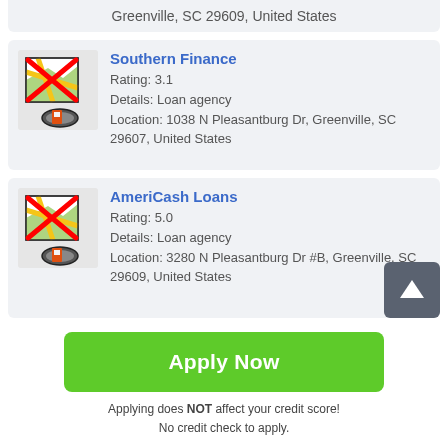Greenville, SC 29609, United States
Southern Finance
Rating: 3.1
Details: Loan agency
Location: 1038 N Pleasantburg Dr, Greenville, SC 29607, United States
AmeriCash Loans
Rating: 5.0
Details: Loan agency
Location: 3280 N Pleasantburg Dr #B, Greenville, SC 29609, United States
Apply Now
Applying does NOT affect your credit score!
No credit check to apply.